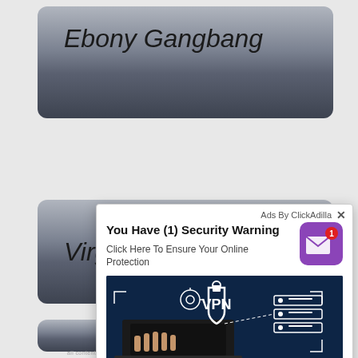Ebony Gangbang
Virgin
[Figure (screenshot): Ad popup overlay with ClickAdilla branding showing a VPN security warning advertisement with an image of a person using a laptop with VPN text overlay]
Ads By ClickAdilla
You Have (1) Security Warning
Click Here To Ensure Your Online Protection
bok